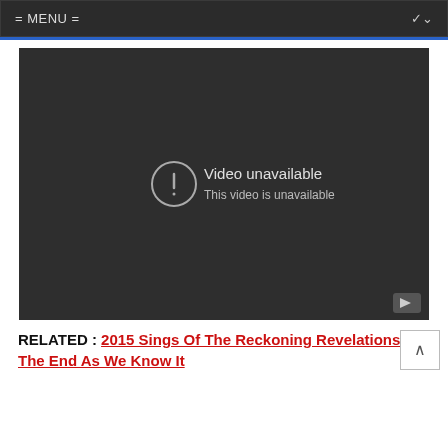= MENU =
[Figure (screenshot): Embedded YouTube-style video player showing 'Video unavailable – This video is unavailable' error message on a dark background, with a play button icon in the bottom-right corner.]
RELATED : 2015 Sings Of The Reckoning Revelations The End As We Know It